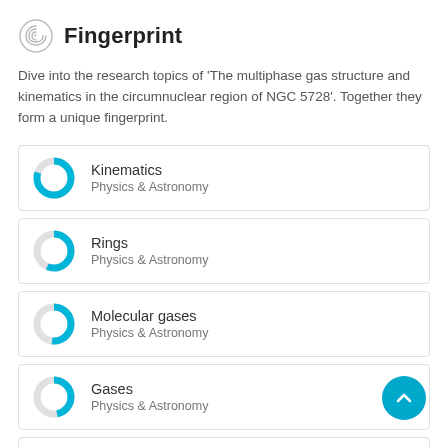Fingerprint
Dive into the research topics of 'The multiphase gas structure and kinematics in the circumnuclear region of NGC 5728'. Together they form a unique fingerprint.
Kinematics — Physics & Astronomy
Rings — Physics & Astronomy
Molecular gases — Physics & Astronomy
Gases — Physics & Astronomy
Active galactic nuclei — Physics & Astronomy